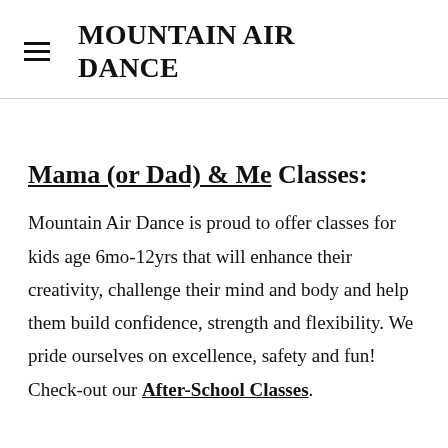MOUNTAIN AIR DANCE
Mama (or Dad) & Me Classes:
Mountain Air Dance is proud to offer classes for kids age 6mo-12yrs that will enhance their creativity, challenge their mind and body and help them build confidence, strength and flexibility. We pride ourselves on excellence, safety and fun! Check-out our After-School Classes.